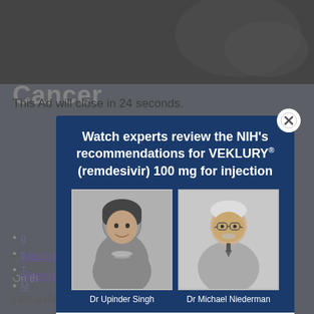[Figure (screenshot): Background webpage showing cancer-related medical content with partial text visible behind an advertisement modal overlay. Shows 'Cancer' heading, 'On th...' text, bullet list items including 'Vaccination' and 'Resources', and 'Last updated: November 5, 2020' footer.]
This Ad will close in 24 seconds.
[Figure (infographic): Gilead pharmaceutical advertisement modal for VEKLURY (remdesivir) 100 mg for injection. Features two expert physicians: Dr Upinder Singh and Dr Michael Niederman, with black-and-white portrait photos. Dark navy blue background. Title: Watch experts review the NIH's recommendations for VEKLURY (remdesivir) 100 mg for injection. Footer shows Gilead logo and copyright: © 2022 Gilead Sciences, Inc. All rights reserved. US-VKYP-0172 06/22]
Vaccination
Resources
Last updated: November 5, 2020